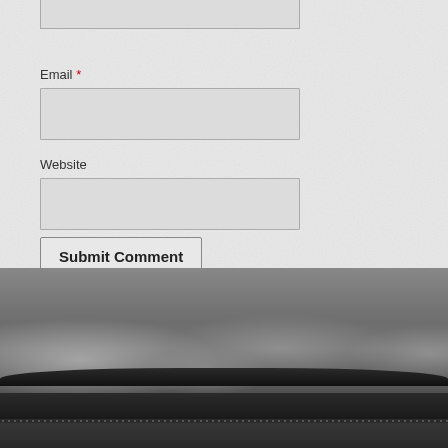Email *
Website
Submit Comment
[Figure (photo): Foggy/cloudy landscape photograph with dark horizon and ground, transitioning into dark footer area with dotted separator]